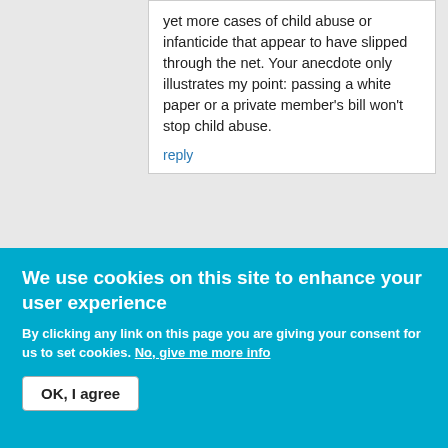yet more cases of child abuse or infanticide that appear to have slipped through the net. Your anecdote only illustrates my point: passing a white paper or a private member's bill won't stop child abuse.
reply
[Figure (logo): Local Schools Network logo - pink square background with white text reading 'LOCAL SCHOOLS NETWORK']
FJ Murphy
Sun, 09/02/2014 - 09:24
We use cookies on this site to enhance your user experience
By clicking any link on this page you are giving your consent for us to set cookies. No, give me more info
OK, I agree